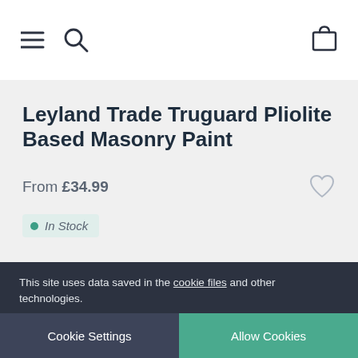[Figure (screenshot): Navigation header bar with hamburger menu icon, search icon on left, and shopping bag icon on right]
Leyland Trade Truguard Pliolite Based Masonry Paint
From £34.99
In Stock
This site uses data saved in the cookie files and other technologies.
Cookie Settings
Allow Cookies